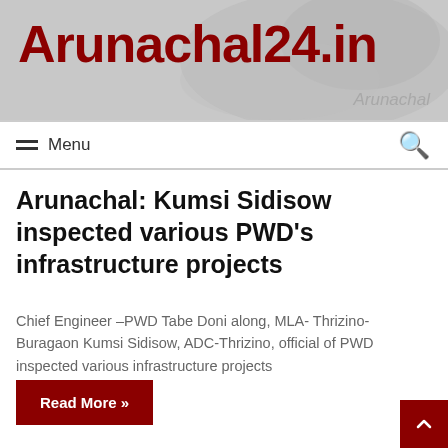Arunachal24.in
Menu
Arunachal: Kumsi Sidisow inspected various PWD's infrastructure projects
Chief Engineer –PWD Tabe Doni along, MLA- Thrizino-Buragaon Kumsi Sidisow, ADC-Thrizino, official of PWD inspected various infrastructure projects
Read More »